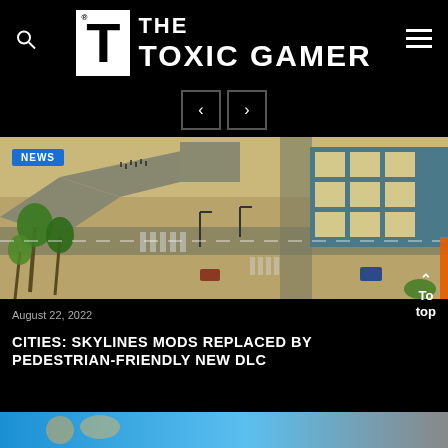THE TOXIC GAMER
[Figure (screenshot): Navigation arrows (previous/next) on black background]
[Figure (screenshot): Cities: Skylines game screenshot showing isometric city view with roads, crosswalks, palm trees, and buildings. A blue NEWS badge is overlaid in the top-left.]
August 22, 2022
CITIES: SKYLINES MODS REPLACED BY PEDESTRIAN-FRIENDLY NEW DLC
[Figure (screenshot): Bottom strip showing next article preview image]